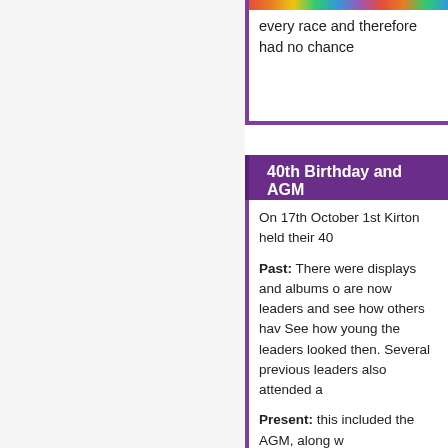every race and therefore had no chance
40th Birthday and AGM
On 17th October 1st Kirton held their 40
Past: There were displays and albums of photos from yesteryear for people who are now leaders and see how others have progressed over the years. See how young the leaders looked then. Several previous leaders also attended a
Present: this included the AGM, along w
Future: we got to hear about the plans fo raising still to do.